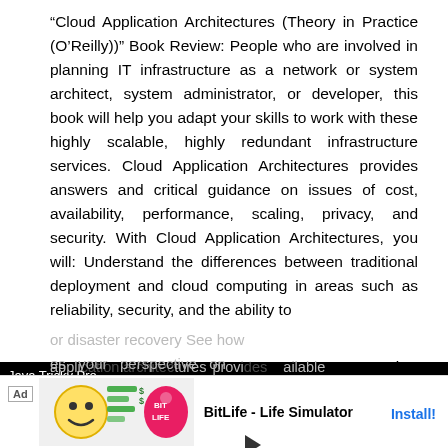“Cloud Application Architectures (Theory in Practice (O’Reilly))” Book Review: People who are involved in planning IT infrastructure as a network or system architect, system administrator, or developer, this book will help you adapt your skills to work with these highly scalable, highly redundant infrastructure services. Cloud Application Architectures provides answers and critical guidance on issues of cost, availability, performance, scaling, privacy, and security. With Cloud Application Architectures, you will: Understand the differences between traditional deployment and cloud computing in areas such as reliability, security, and the ability to … Determine whether moving … e cloud makes technical and … nsactional web application and … upport it Learn how the cloud … or disaster recovery See how … es your perspective on appli… tures provi… ailable
[Figure (screenshot): Video player overlay showing 'Java Tricky Pro...' title with play button on dark background]
[Figure (screenshot): Ad banner for BitLife - Life Simulator app with Install button]